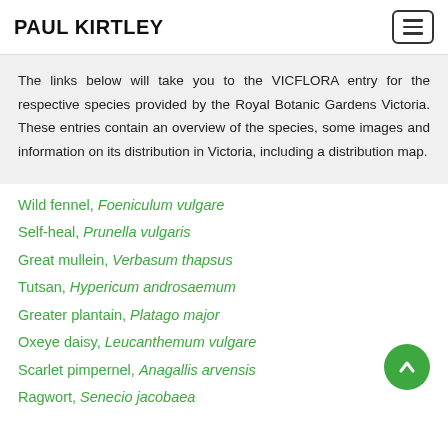PAUL KIRTLEY
The links below will take you to the VICFLORA entry for the respective species provided by the Royal Botanic Gardens Victoria. These entries contain an overview of the species, some images and information on its distribution in Victoria, including a distribution map.
Wild fennel, Foeniculum vulgare
Self-heal, Prunella vulgaris
Great mullein, Verbasum thapsus
Tutsan, Hypericum androsaemum
Greater plantain, Platago major
Oxeye daisy, Leucanthemum vulgare
Scarlet pimpernel, Anagallis arvensis
Ragwort, Senecio jacobaea